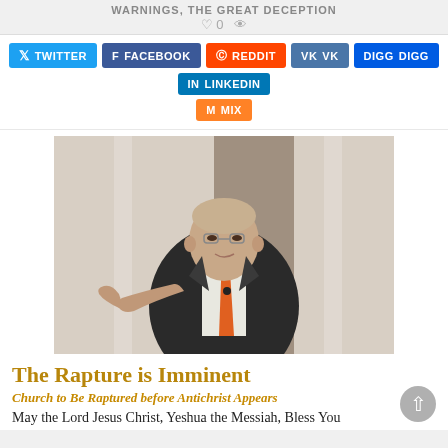WARNINGS, THE GREAT DECEPTION  ♡ 0  👁
[Figure (other): Social media share buttons: Twitter, Facebook, Reddit, VK, Digg, LinkedIn, Mix]
[Figure (photo): A heavyset man in a dark suit and orange/coral tie, pointing at the viewer, standing in what appears to be a church or formal hall setting]
The Rapture is Imminent
Church to Be Raptured before Antichrist Appears
May the Lord Jesus Christ, Yeshua the Messiah, Bless You